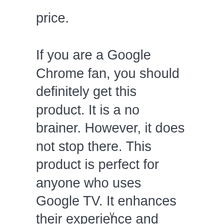price.
If you are a Google Chrome fan, you should definitely get this product. It is a no brainer. However, it does not stop there. This product is perfect for anyone who uses Google TV. It enhances their experience and makes it more enjoyable.
It is easy to use and you do not need any technical expertise. Just plug it in and start
v